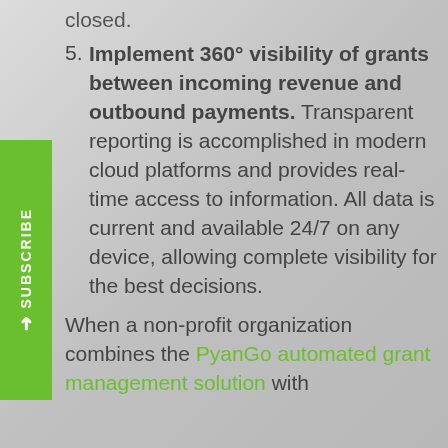closed.
5. Implement 360° visibility of grants between incoming revenue and outbound payments. Transparent reporting is accomplished in modern cloud platforms and provides real-time access to information. All data is current and available 24/7 on any device, allowing complete visibility for the best decisions.
When a non-profit organization combines the PyanGo automated grant management solution with